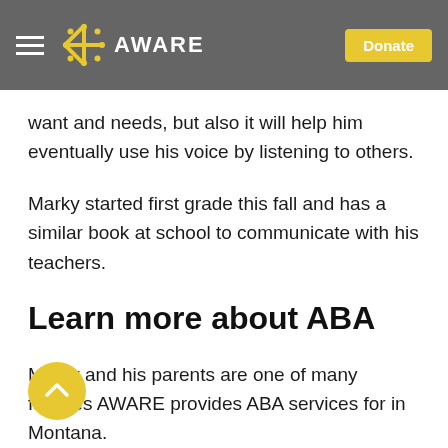AWARE — Donate
want and needs, but also it will help him eventually use his voice by listening to others.
Marky started first grade this fall and has a similar book at school to communicate with his teachers.
Learn more about ABA
Marky and his parents are one of many families AWARE provides ABA services for in Montana.
“ABA is definitely something someone should follow through with,” Brittany said. “It's a great service.”